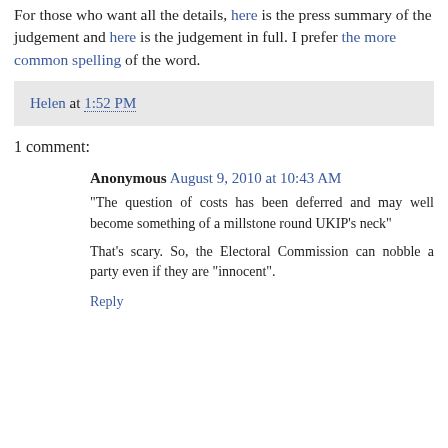For those who want all the details, here is the press summary of the judgement and here is the judgement in full. I prefer the more common spelling of the word.
Helen at 1:52 PM
1 comment:
Anonymous August 9, 2010 at 10:43 AM
"The question of costs has been deferred and may well become something of a millstone round UKIP's neck"
That's scary. So, the Electoral Commission can nobble a party even if they are "innocent".
Reply